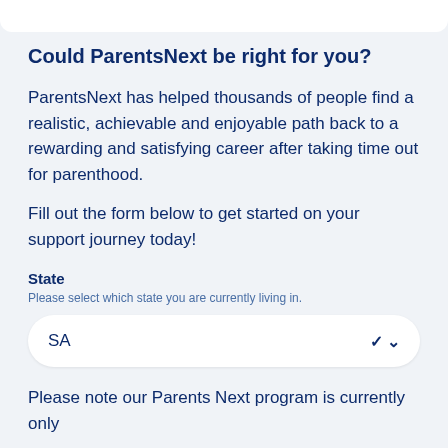Could ParentsNext be right for you?
ParentsNext has helped thousands of people find a realistic, achievable and enjoyable path back to a rewarding and satisfying career after taking time out for parenthood.
Fill out the form below to get started on your support journey today!
State
Please select which state you are currently living in.
SA
Please note our Parents Next program is currently only